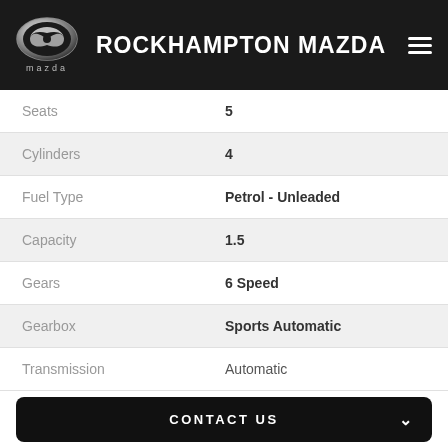ROCKHAMPTON MAZDA
| Attribute | Value |
| --- | --- |
| Seats | 5 |
| Cylinders | 4 |
| Fuel Type | Petrol - Unleaded |
| Capacity | 1.5 |
| Gears | 6 Speed |
| Gearbox | Sports Automatic |
| Transmission | Automatic |
CONTACT US
FINANCE THIS VEHICLE